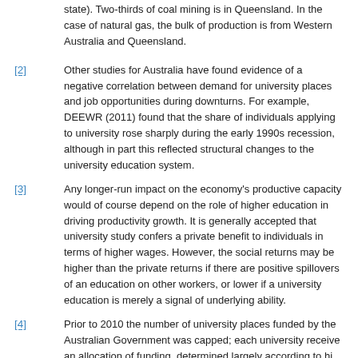state). Two-thirds of coal mining is in Queensland. In the case of natural gas, the bulk of production is from Western Australia and Queensland.
[2] Other studies for Australia have found evidence of a negative correlation between demand for university places and job opportunities during downturns. For example, DEEWR (2011) found that the share of individuals applying to university rose sharply during the early 1990s recession, although in part this reflected structural changes to the university education system.
[3] Any longer-run impact on the economy's productive capacity would of course depend on the role of higher education in driving productivity growth. It is generally accepted that university study confers a private benefit to individuals in terms of higher wages. However, the social returns may be higher than the private returns if there are positive spillovers of an education on other workers, or lower if a university education is merely a signal of underlying ability.
[4] Prior to 2010 the number of university places funded by the Australian Government was capped; each university received an allocation of funding, determined largely according to history. If these funding allocations had not kept pace with population...